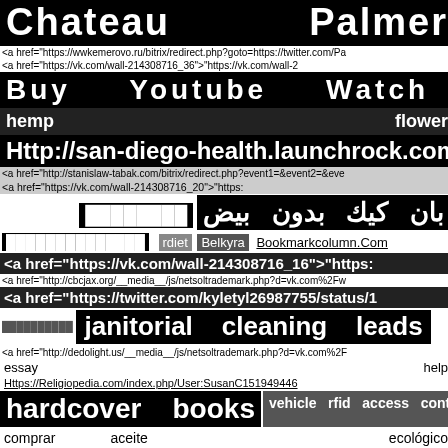Chateau    Palmer
<a href="https://wwkemerovo.ru/bitrix/redirect.php?goto=https://twitter.com/Pa
<a href="https://vk.com/wall-214308716_36">"https://vk.com/wall-2
Buy    Youtube    Watch    hours
hemp                                         flower
Http://san-diego-health.launchrock.com
<a href="http://stanislaw-tabak.com/bitrix/redirect.php?event1=&event2=&eve
<a href="https://vk.com/wall-214308716_20">"https:
بان كيك بدون بيض  ████████
██████████████    rdiet    Belkyra    Bookmarkcolumn.Com
<a href="https://vk.com/wall-214308716_16">"https:
<a href="http://cbcjax.org/__media__/js/netsoltrademark.php?d=vk.com%2Fw
<a href="https://twitter.com/kyletyl26987755/status/1
██████████    janitorial    cleaning    leads
<a href="http://dedolight.us/__media__/js/netsoltrademark.php?d=vk.com%2F
essay                                              help
Https://Religiopedia.com/index.php/User:SusanC151949446
hardcover    books    vehicle  rfid  access  control
comprar              aceite              ecológico
<a href="http://biov.ml/__media__/js/netsoltrademark.php?d=vk.com%2Fwall-
<a href="https://ok.ru/profile/565717758117/statuses/154160037341349">"ht